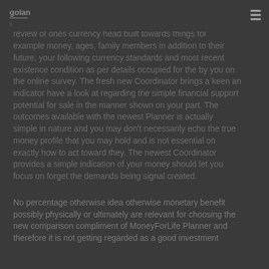golan [logo] ≡
above line Currency Simulator subsidiary but to select a review of ones currency head built towards things for example money, ages, family members in addition to their future, your following currency standards and most recent existence condition as per details occupied for the by you on the online survey. The fresh new Coordinator brings a keen an indicator have a look at regarding the simple financial support potential for sale in the manner shown on your part. The outcomes available with the newest Planner is actually simple in nature and you may don't necessarily echo the true money profile that you may hold and is not essential on exactly how to act toward they. The newest Coordinator provides a simple indication of your money should let you focus on forget the demands being signal created.
No percentage otherwise idea otherwise monetary benefit possibly physically or ultimately are relevant for choosing the new comparison compliment of MoneyForLife Planner and therefore it is not getting regarded as a good investment